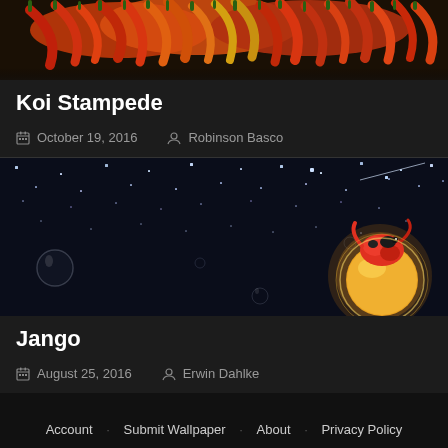[Figure (photo): Top thumbnail image of colorful red, orange and yellow chili peppers on a dark background, for post titled Koi Stampede]
Koi Stampede
October 19, 2016   Robinson Basco
[Figure (photo): Dark starry night sky background with floating bubbles and a glowing orange/red koi fish character in the lower right, for post titled Jango]
Jango
August 25, 2016   Erwin Dahlke
Account   Submit Wallpaper   About   Privacy Policy